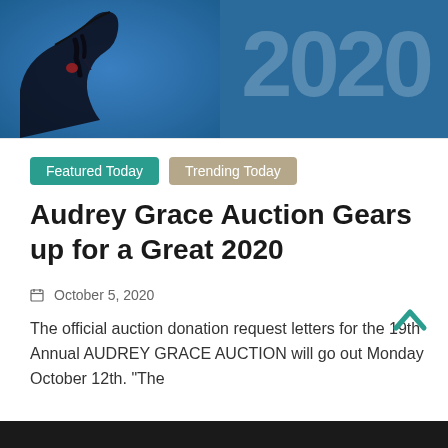[Figure (photo): Hero banner with a horse silhouette on a blue background with large semi-transparent '2020' text overlay]
Featured Today
Trending Today
Audrey Grace Auction Gears up for a Great 2020
October 5, 2020
The official auction donation request letters for the 19th Annual AUDREY GRACE AUCTION will go out Monday October 12th. “The
Read more